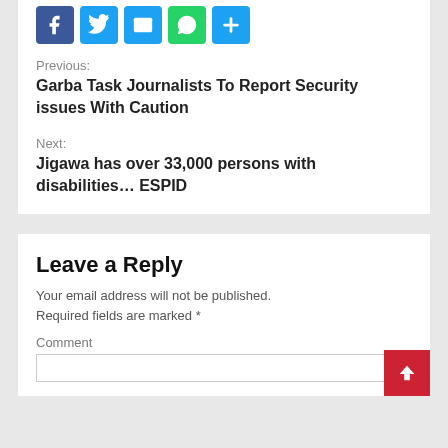[Figure (other): Social sharing icons: Facebook, Twitter, Email, WhatsApp, Share]
Previous:
Garba Task Journalists To Report Security issues With Caution
Next:
Jigawa has over 33,000 persons with disabilities… ESPID
Leave a Reply
Your email address will not be published. Required fields are marked *
Comment